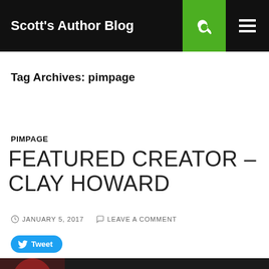Scott's Author Blog
Tag Archives: pimpage
PIMPAGE
FEATURED CREATOR – CLAY HOWARD
JANUARY 5, 2017   LEAVE A COMMENT
Tweet
[Figure (screenshot): YouTube video thumbnail showing 'Too Many People (lyric video)- Clay H...' with a crowd image and a figure in red on the left side]